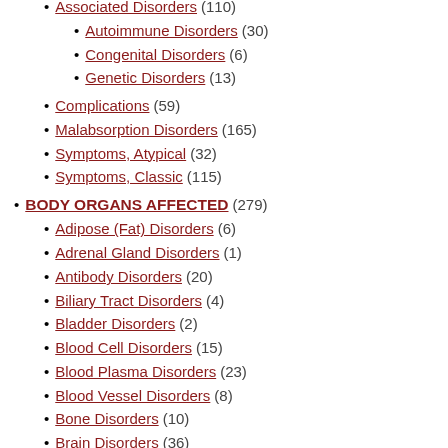Associated Disorders (110)
Autoimmune Disorders (30)
Congenital Disorders (6)
Genetic Disorders (13)
Complications (59)
Malabsorption Disorders (165)
Symptoms, Atypical (32)
Symptoms, Classic (115)
BODY ORGANS AFFECTED (279)
Adipose (Fat) Disorders (6)
Adrenal Gland Disorders (1)
Antibody Disorders (20)
Biliary Tract Disorders (4)
Bladder Disorders (2)
Blood Cell Disorders (15)
Blood Plasma Disorders (23)
Blood Vessel Disorders (8)
Bone Disorders (10)
Brain Disorders (36)
Cerebellum Disorders (5)